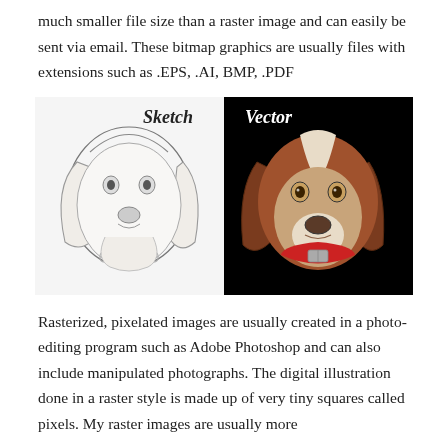much smaller file size than a raster image and can easily be sent via email. These bitmap graphics are usually files with extensions such as .EPS, .AI, BMP, .PDF
[Figure (illustration): Side-by-side comparison of a dog portrait: left half shows a pencil sketch (Sketch) on white background, right half shows a colored vector illustration (Vector) on black background. Labels 'Sketch' and 'Vector' appear at the top center in cursive/italic font.]
Rasterized, pixelated images are usually created in a photo-editing program such as Adobe Photoshop and can also include manipulated photographs. The digital illustration done in a raster style is made up of very tiny squares called pixels. My raster images are usually more